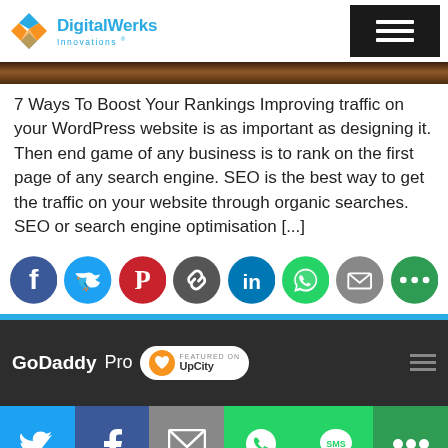[Figure (logo): DigitalWerks Innovations logo with colorful diamond icon and cyan text]
[Figure (photo): Dark wood texture banner image]
7 Ways To Boost Your Rankings Improving traffic on your WordPress website is as important as designing it. Then end game of any business is to rank on the first page of any search engine. SEO is the best way to get the traffic on your website through organic searches. SEO or search engine optimisation [...]
[Figure (infographic): Social sharing icons row: Facebook (blue), Twitter (cyan), Pinterest (red), Link (dark gray), LinkedIn (blue), WhatsApp (green), Email (gray), More (green)]
[Figure (logo): GoDaddy Pro logo and UpCity featured badge in dark footer]
[Figure (infographic): Bottom share bar: Twitter, Facebook, Email, WhatsApp, SMS, More icons]